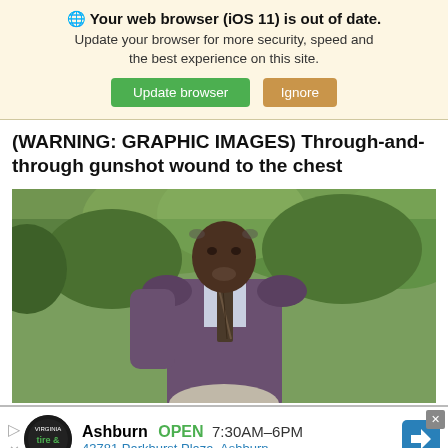🌐 Your web browser (iOS 11) is out of date. Update your browser for more security, speed and the best experience on this site. [Update browser] [Ignore]
(WARNING: GRAPHIC IMAGES) Through-and-through gunshot wound to the chest
[Figure (photo): Tall elderly Black man in a suit and tie standing outdoors in front of trees]
Ashburn OPEN 7:30AM–6PM 43781 Parkhurst Plaza, Ashburn